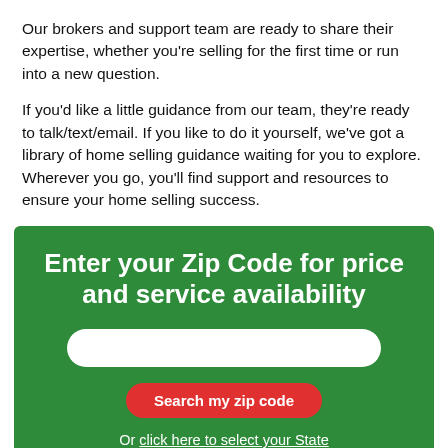Our brokers and support team are ready to share their expertise, whether you're selling for the first time or run into a new question.
If you'd like a little guidance from our team, they're ready to talk/text/email. If you like to do it yourself, we've got a library of home selling guidance waiting for you to explore. Wherever you go, you'll find support and resources to ensure your home selling success.
[Figure (infographic): Green box with heading 'Enter your Zip Code for price and service availability', a white rounded input field, a red 'Search my zip code' button, and white text 'Or click here to select your State' with underlined link.]